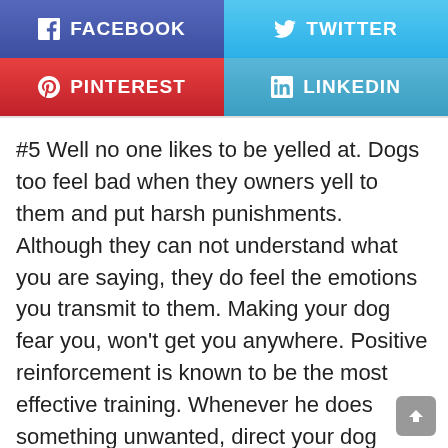[Figure (infographic): Four social media share buttons in a 2x2 grid: Facebook (purple-blue), Twitter (light blue), Pinterest (red), LinkedIn (blue)]
#5 Well no one likes to be yelled at. Dogs too feel bad when they owners yell to them and put harsh punishments. Although they can not understand what you are saying, they do feel the emotions you transmit to them. Making your dog fear you, won't get you anywhere. Positive reinforcement is known to be the most effective training. Whenever he does something unwanted, direct your dog towards a positive or preferred behavior.